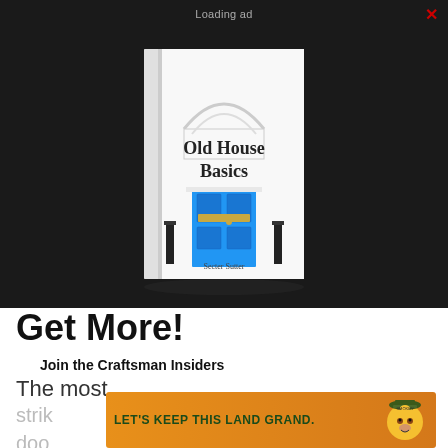Loading ad
[Figure (illustration): Book cover of 'Old House Basics' by Secter Sutter showing a blue door on a white Georgian-style building facade]
Get More!
Join the Craftsman Insiders
The most
strik
[Figure (infographic): Ad banner: LET'S KEEP THIS LAND GRAND. with Smokey Bear mascot on orange/brown gradient background]
doo